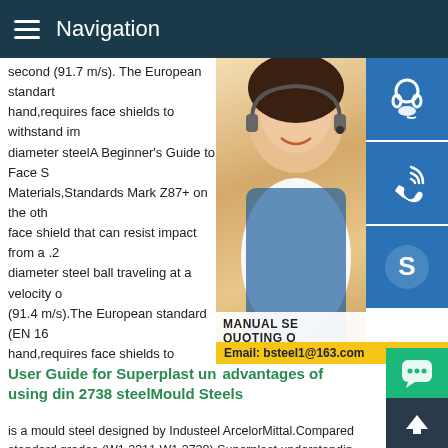Navigation
second (91.7 m/s). The European standard on the other hand,requires face shields to withstand impact from a .25 diameter steelA Beginner's Guide to Face Shields| Materials,Standards Mark Z87+ on the other hand, a face shield that can resist impact from a .25 diameter steel ball traveling at a velocity of 300 fps (91.4 m/s).The European standard (EN 166) on the other hand,requires face shields to withstand impact from a .25 diameter steel
[Figure (photo): Woman with headset smiling, customer service representative photo with contact icons on right side]
User Guide for Superplast understanding advantages of using din 2738 steelMould Steels
is a mould steel designed by Industeel ArcelorMittal.Compared to standard grades (W1.2311,W1.2738),Superplast understanding advantages of using din 2738 steel2738mod provides following benefits.Excellent through-hardening (uniform hardness)